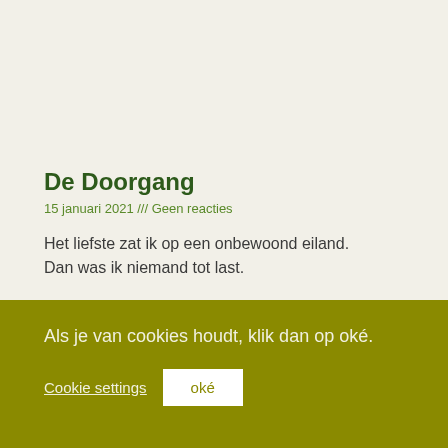De Doorgang
15 januari 2021 /// Geen reacties
Het liefste zat ik op een onbewoond eiland.
Dan was ik niemand tot last.
Lees meer »
Als je van cookies houdt, klik dan op oké.
Cookie settings
oké